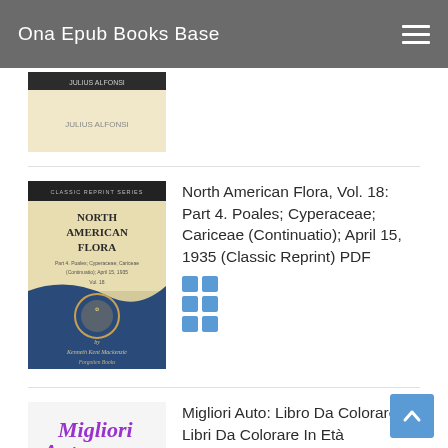Ona Epub Books Base
[Figure (photo): Partial book cover visible at top of page — truncated, showing bottom portion of a light-colored book]
[Figure (photo): Book cover: North American Flora, Classic Reprint Series, Part 4, Poales; Cyperaceae; Cariceae (Continuatio); April 15, 1935, blue and cream colored cover with decorative elements, by Kenneth Kent Mackenzie]
North American Flora, Vol. 18: Part 4. Poales; Cyperaceae; Cariceae (Continuatio); April 15, 1935 (Classic Reprint) PDF
[Figure (other): Six blue square dots arranged in 2x3 grid]
[Figure (photo): Book cover: Migliori Auto — colorful children's coloring book cover with car illustrations in red, purple and grey]
Migliori Auto: Libro Da Colorare: Libri Da Colorare In Età Prescolare ✎ Libri Da Colorare Per I Bambini In Età Prescolare ✎ Best Cars ~ ...